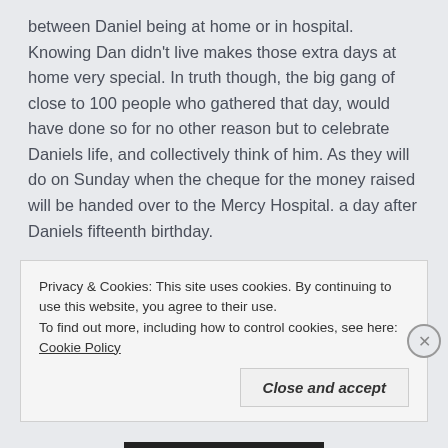between Daniel being at home or in hospital. Knowing Dan didn't live makes those extra days at home very special. In truth though, the big gang of close to 100 people who gathered that day, would have done so for no other reason but to celebrate Daniels life, and collectively think of him. As they will do on Sunday when the cheque for the money raised will be handed over to the Mercy Hospital. a day after Daniels fifteenth birthday.
Privacy & Cookies: This site uses cookies. By continuing to use this website, you agree to their use.
To find out more, including how to control cookies, see here: Cookie Policy